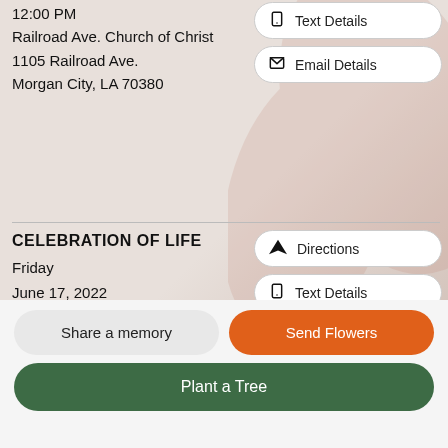12:00 PM
Railroad Ave. Church of Christ
1105 Railroad Ave.
Morgan City, LA 70380
CELEBRATION OF LIFE
Friday
June 17, 2022
12:00 PM
Railroad Ave. Church of Christ
1105 Railroad Ave.
Morgan City, LA 70380
Text Details
Email Details
Directions
Text Details
Email Details
Share a memory
Send Flowers
Plant a Tree